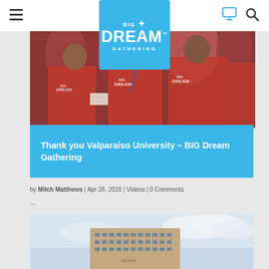Big Dream Gathering – navigation header with hamburger menu, logo, monitor icon, and search icon
[Figure (photo): Group of young people wearing red Big Dream Gathering t-shirts and lanyards, smiling at an event]
Thank you Valparaiso University – BIG Dream Gathering
by Mitch Matthews | Apr 28, 2016 | Videos | 0 Comments
...
[Figure (photo): Exterior of a large brick building with cloudy sky background, partially visible]